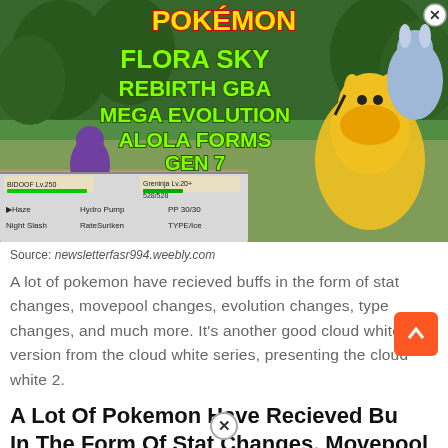[Figure (screenshot): Pokemon Flora Sky Rebirth GBA game screenshot showing Mega Evolution, Alola Forms, Gen 7 features with battle scene]
Source: newsletterfasr994.weebly.com
A lot of pokemon have recieved buffs in the form of stat changes, movepool changes, evolution changes, type changes, and much more. It’s another good cloud white version from the cloud white series, presenting the cloud white 2.
A Lot Of Pokemon Have Recieved Buffs In The Form Of Stat Changes, Movepool Changes, Evolution Changes, Type Changes, And Much More.